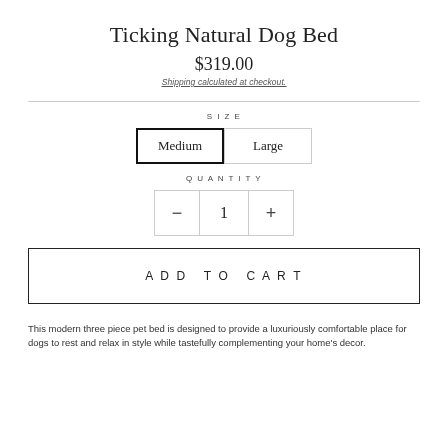Ticking Natural Dog Bed
$319.00
Shipping calculated at checkout.
SIZE
Medium   Large
QUANTITY
−  1  +
ADD TO CART
This modern three piece pet bed is designed to provide a luxuriously comfortable place for dogs to rest and relax in style while tastefully complementing your home's decor.